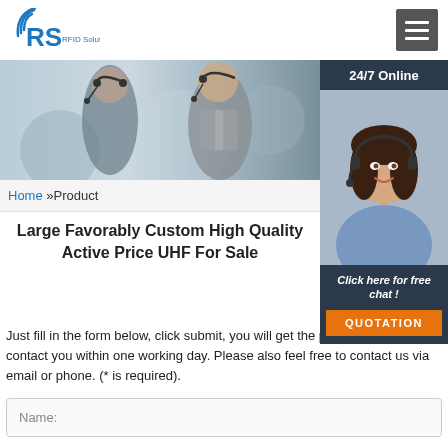RS RFID Solution
[Figure (photo): Hero banner showing call center workers wearing headsets, with a customer service chat box overlay on the right showing a smiling woman with headset and '24/7 Online' text]
Home »Product
Large Favorably Custom High Quality Active Price UHF For Sale
Just fill in the form below, click submit, you will get the price list, and we will contact you within one working day. Please also feel free to contact us via email or phone. (* is required).
Name: